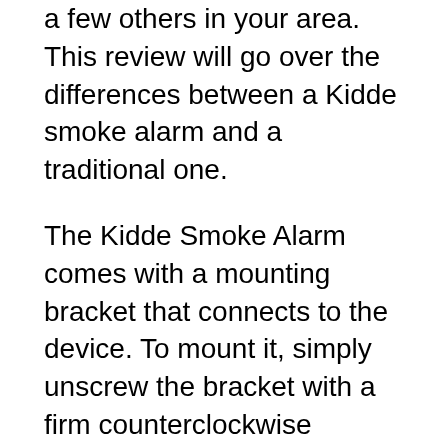a few others in your area. This review will go over the differences between a Kidde smoke alarm and a traditional one.
The Kidde Smoke Alarm comes with a mounting bracket that connects to the device. To mount it, simply unscrew the bracket with a firm counterclockwise movement. Next, insert the smoke alarm into the mounting bracket. If the smoke alarm is already in place, push the “silence” button to silence it. If the alarm sounds, you need to push the “Push Test Button” button to conduct a quick diagnostic test. The device will flash red and sound the alarm if it detects smoke.
Kidde Combo Smoke